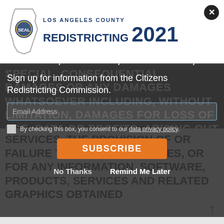LOS ANGELES COUNTY REDISTRICTING 2021
INDIRECT, PUNITIVE, INCIDENTAL, SPECIAL, CONSEQUENTIAL DAMAGES OR ANY DAMAGES WHATSOEVER INCLUDING, WITHOUT LIMITATION, DAMAGES FOR LOSS OF USE, DATA OR PROFITS, ARISING OUT OF OR IN ANY WAY CONNECTED WITH THE USE OR PERFORMANCE OF THE Los Angeles County Redistricting 2021 WEB SITE, WITH THE DELAY OR INABILITY TO USE THE Los Angeles County Redistricting 2021 WEB SITE OR RELATED SERVICES, THE PROVISION OF OR FAILURE TO PROVIDE SERVICES, OR FOR ANY INFORMATION, SOFTWARE, PRODUCTS, SERVICES AND RELATED GRAPHICS OBTAINED
Sign up for information from the Citizens Redistricting Commission.
Email Address
By checking this box, you consent to our data privacy policy.
SUBSCRIBE
No Thanks
Remind Me Later